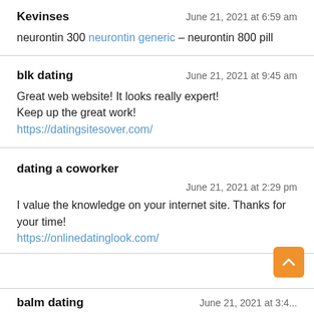Kevinses — June 21, 2021 at 6:59 am
neurontin 300 neurontin generic – neurontin 800 pill
blk dating — June 21, 2021 at 9:45 am
Great web website! It looks really expert!
Keep up the great work!
https://datingsitesover.com/
dating a coworker — June 21, 2021 at 2:29 pm
I value the knowledge on your internet site. Thanks for your time!
https://onlinedatinglook.com/
balm dating — June 21, 2021 at ...